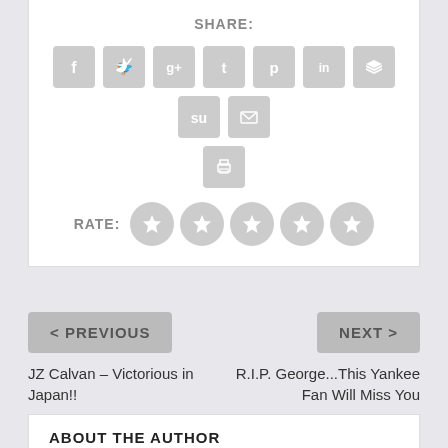SHARE:
[Figure (infographic): Social media sharing icons in gray rounded squares: Facebook, Twitter, Google+, Tumblr, Pinterest, LinkedIn, Buffer, StumbleUpon, Email, Print]
RATE:
[Figure (infographic): Five gray star rating circles]
< PREVIOUS
NEXT >
JZ Calvan – Victorious in Japan!!
R.I.P. George...This Yankee Fan Will Miss You
ABOUT THE AUTHOR